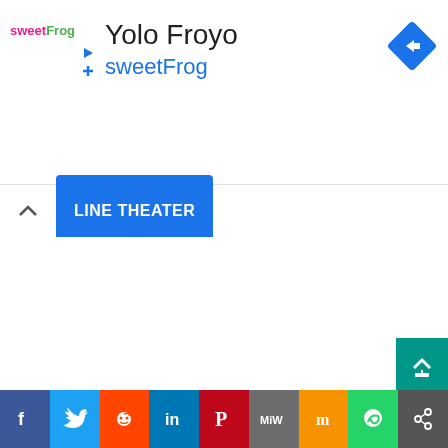[Figure (logo): sweetFrog frozen yogurt brand logo with colorful text]
Yolo Froyo
sweetFrog
[Figure (other): Blue diamond-shaped Google Maps directions icon with right-arrow]
[Figure (other): Upward caret and blue LINE THEATER tab label]
[Figure (logo): Golden geometric star/diamond pattern logo]
[Figure (other): Teal scroll-to-top button with house/up icon]
f  Twitter  r  in  P  MiW  m  WhatsApp  share